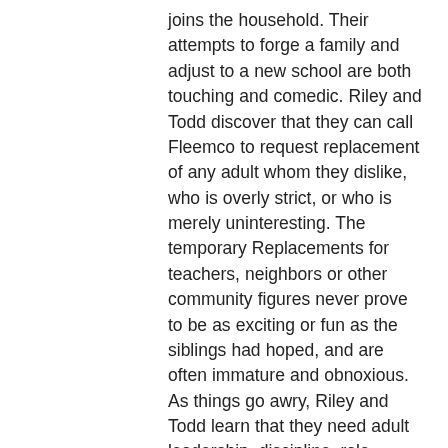joins the household. Their attempts to forge a family and adjust to a new school are both touching and comedic. Riley and Todd discover that they can call Fleemco to request replacement of any adult whom they dislike, who is overly strict, or who is merely uninteresting. The temporary Replacements for teachers, neighbors or other community figures never prove to be as exciting or fun as the siblings had hoped, and are often immature and obnoxious. As things go awry, Riley and Todd learn that they need adult leadership, discipline, role models, order and structure. By the end of each story they are eager to